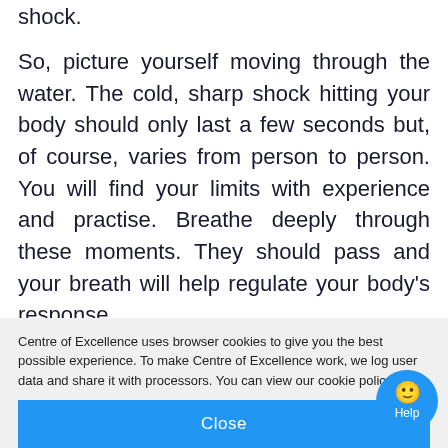shock.
So, picture yourself moving through the water. The cold, sharp shock hitting your body should only last a few seconds but, of course, varies from person to person. You will find your limits with experience and practise. Breathe deeply through these moments. They should pass and your breath will help regulate your body’s response.
Centre of Excellence uses browser cookies to give you the best possible experience. To make Centre of Excellence work, we log user data and share it with processors. You can view our cookie policy here.
Close